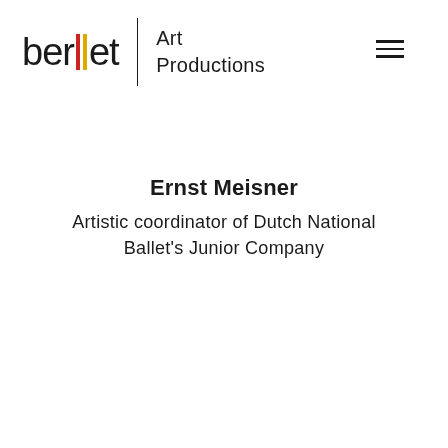berllet Art Productions
Ernst Meisner
Artistic coordinator of Dutch National Ballet's Junior Company